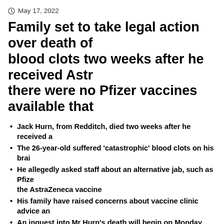May 17, 2022
Family set to take legal action over death of blood clots two weeks after he received Astr there were no Pfizer vaccines available that
Jack Hurn, from Redditch, died two weeks after he received a
The 26-year-old suffered 'catastrophic' blood clots on his brai
He allegedly asked staff about an alternative jab, such as Pfize the AstraZeneca vaccine
His family have raised concerns about vaccine clinic advice an
An inquest into Mr Hurn's death will begin on Monday and w
The heartbroken family of a 26-year-old graduate who died from 'cat AstraZeneca vaccine are set to take legal action over his death.
Jack Hurn, from Redditch, died last June, after receiving his first dose
On Monday, an inquest will open into his death, which his family – w